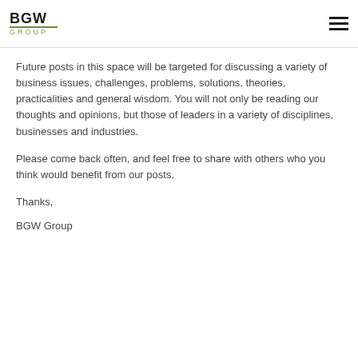BGW GROUP
Future posts in this space will be targeted for discussing a variety of business issues, challenges, problems, solutions, theories, practicalities and general wisdom. You will not only be reading our thoughts and opinions, but those of leaders in a variety of disciplines, businesses and industries.
Please come back often, and feel free to share with others who you think would benefit from our posts.
Thanks,
BGW Group